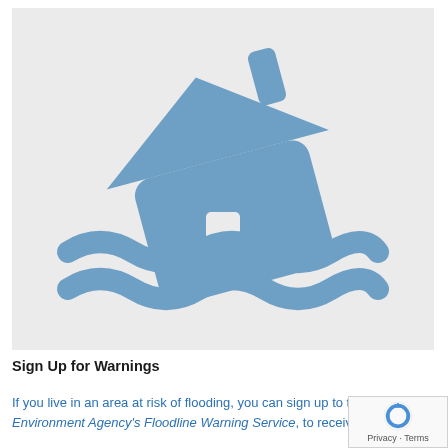[Figure (illustration): A blue icon of a house tilted and partially submerged in stylized flood water waves, set against a light grey background. The house icon has rounded corners and the water is shown as two wavy lines below it.]
Sign Up for Warnings
If you live in an area at risk of flooding, you can sign up to the Environment Agency's Floodline Warning Service, to receive flood